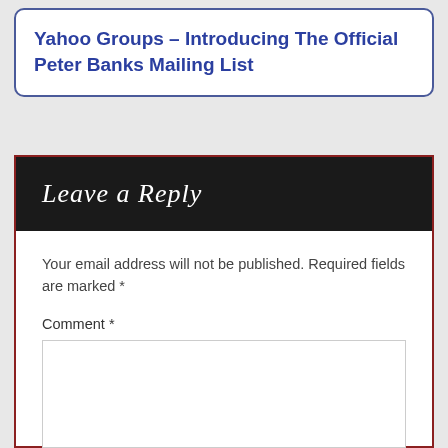Yahoo Groups – Introducing The Official Peter Banks Mailing List
Leave a Reply
Your email address will not be published. Required fields are marked *
Comment *